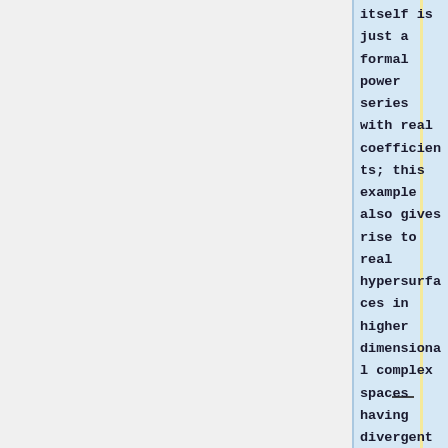itself is just a formal power series with real coefficients; this example also gives rise to real hypersurfaces in higher dimensional complex spaces having divergent formal self-maps. On the other hand, a formal map